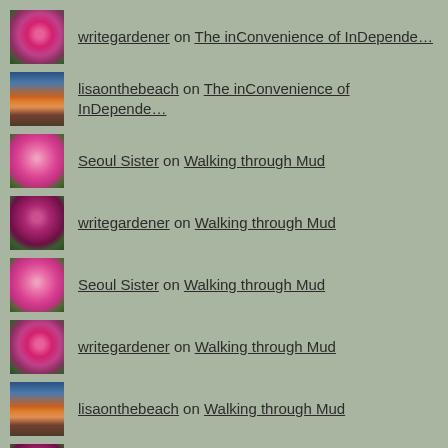writegardener on The inConvenience of InDepende…
lisaonthebeach on The inConvenience of InDepende…
Seoul Sister on Walking through Mud
writegardener on Walking through Mud
Seoul Sister on Walking through Mud
writegardener on Walking through Mud
lisaonthebeach on Walking through Mud
writegardener on Walking through Mud